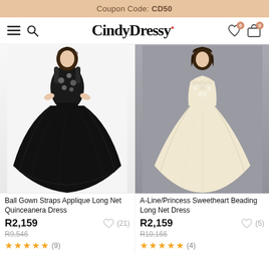Coupon Code: CD50
[Figure (screenshot): CindyDressy website navigation bar with hamburger menu, search icon, logo, heart and bag icons with 0 count badges]
[Figure (photo): Ball gown with black tulle skirt and embellished bodice with straps, worn by a woman]
Ball Gown Straps Applique Long Net Quinceanera Dress
R2,159
R9,546
(21)
(9)
[Figure (photo): A-line/princess gown in ivory/champagne with sweetheart neckline and beaded lace bodice, worn by a woman against grey background]
A-Line/Princess Sweetheart Beading Long Net Dress
R2,159
R10,166
(5)
(4)